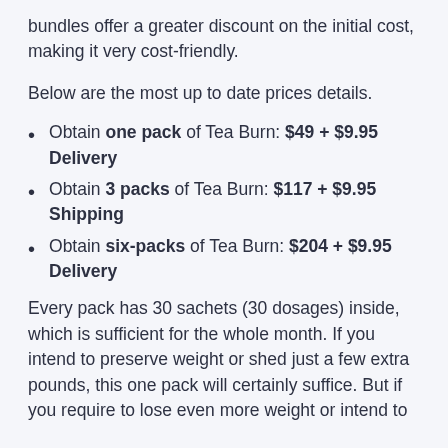bundles offer a greater discount on the initial cost, making it very cost-friendly.
Below are the most up to date prices details.
Obtain one pack of Tea Burn: $49 + $9.95 Delivery
Obtain 3 packs of Tea Burn: $117 + $9.95 Shipping
Obtain six-packs of Tea Burn: $204 + $9.95 Delivery
Every pack has 30 sachets (30 dosages) inside, which is sufficient for the whole month. If you intend to preserve weight or shed just a few extra pounds, this one pack will certainly suffice. But if you require to lose even more weight or intend to